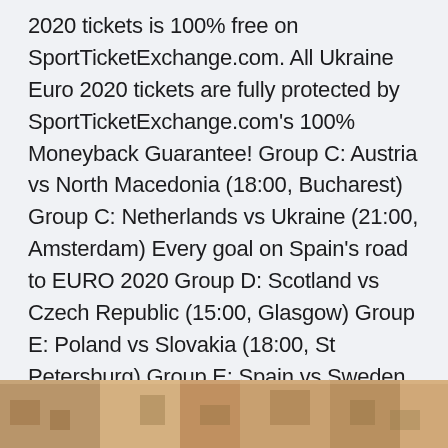2020 tickets is 100% free on SportTicketExchange.com. All Ukraine Euro 2020 tickets are fully protected by SportTicketExchange.com's 100% Moneyback Guarantee! Group C: Austria vs North Macedonia (18:00, Bucharest) Group C: Netherlands vs Ukraine (21:00, Amsterdam) Every goal on Spain's road to EURO 2020 Group D: Scotland vs Czech Republic (15:00, Glasgow) Group E: Poland vs Slovakia (18:00, St Petersburg) Group E: Spain vs Sweden (21:00, Seville) Group F: Hungary vs Portugal (18:00, Budapest) Apr 23, 2021 · UEFA EURO 2020 is being held across the continent for the first time in the competition's 60-year history, with 11 host cities in all.
[Figure (photo): Partial image strip at the bottom of the page showing what appears to be a crowd or sports-related photo, partially cut off.]